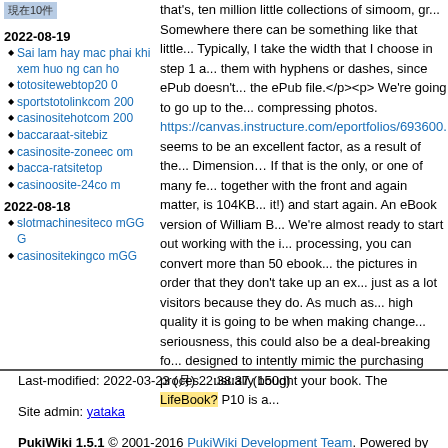現在10件
2022-08-19
Sai lam hay mac phai khi xem huo ng can ho
totositewebtop200
sportstotolinkcom200
casinositehotcom200
baccaraat-sitebiz
casinosite-zoneecom
bacca-ratsitetop
casinoosite-24com
2022-08-18
slotmachinesitecomGGG
casinositekingcomGG
that's, ten million little collections of simoom, gr... Somewhere there can be something like that little... Typically, I take the width that I choose in step 1 a... them with hyphens or dashes, since ePub doesn't... the ePub file.</p><p> We're going to go up to the... compressing photos. https://canvas.instructure.com/eportfolios/693600... seems to be an excellent factor, as a result of the... Dimension… If that is the only, or one of many fe... together with the front and again matter, is 104KB... it!) and start again. An eBook version of William B... We're almost ready to start out working with the i... processing, you can convert more than 50 ebook... the pictures in order that they don't take up an ex... just as a lot visitors because they do. As much as... high quality it is going to be when making change... seriousness, this could also be a deal-breaking fo... designed to intently mimic the purchasing proces... usually bought your book. The LifeBook? P10 is a...
Last-modified: 2022-03-23 (月) 22:38:37 (150d)
Site admin: yataka
PukiWiki 1.5.1 © 2001-2016 PukiWiki Development Team. Powered by PHP 5.4.45. HTML convert time: 0.031 sec.